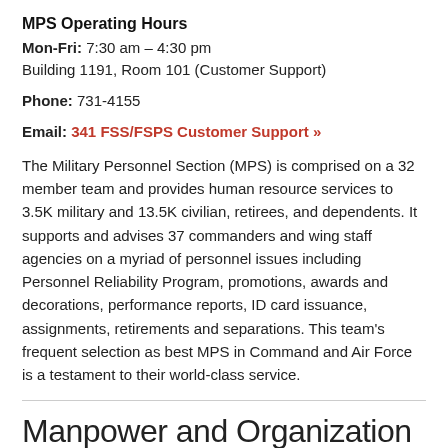MPS Operating Hours
Mon-Fri: 7:30 am – 4:30 pm
Building 1191, Room 101 (Customer Support)
Phone: 731-4155
Email: 341 FSS/FSPS Customer Support »
The Military Personnel Section (MPS) is comprised on a 32 member team and provides human resource services to 3.5K military and 13.5K civilian, retirees, and dependents. It supports and advises 37 commanders and wing staff agencies on a myriad of personnel issues including Personnel Reliability Program, promotions, awards and decorations, performance reports, ID card issuance, assignments, retirements and separations. This team's frequent selection as best MPS in Command and Air Force is a testament to their world-class service.
Manpower and Organization Section
Mon-Fri: 6:30 am – 5 pm